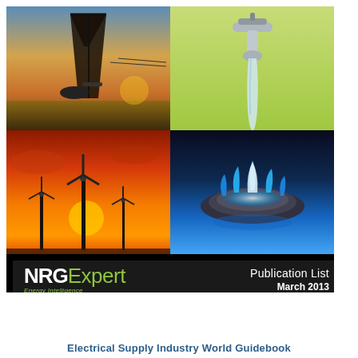[Figure (illustration): 2x2 grid of energy industry photos: top-left oil derrick silhouette at sunset, top-right water tap/faucet on green background, bottom-left wind turbines at orange sunset, bottom-right blue gas burner flame]
NRGExpert Energy Intelligence — Publication List March 2013
Electrical Supply Industry World Guidebook